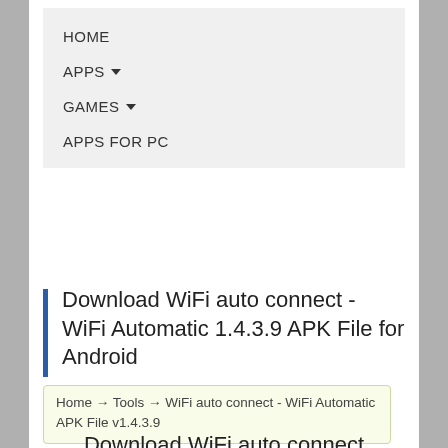HOME
APPS ▾
GAMES ▾
APPS FOR PC
Download WiFi auto connect - WiFi Automatic 1.4.3.9 APK File for Android
Home → Tools → WiFi auto connect - WiFi Automatic APK File v1.4.3.9
Download WiFi auto connect